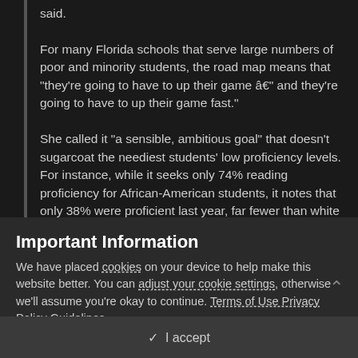said.
For many Florida schools that serve large numbers of poor and minority students, the road map means that "they're going to have to up their game â€" and they're going to have to up their game fast."
She called it "a sensible, ambitious goal" that doesn't sugarcoat the neediest students' low proficiency levels. For instance, while it seeks only 74% reading proficiency for African-American students, it notes that only 38% were proficient last year, far fewer than white students, at 69%. It pushes for 36% more African-American students to become proficient in five years, vs. only 19% more white students.
Important Information
We have placed cookies on your device to help make this website better. You can adjust your cookie settings, otherwise we'll assume you're okay to continue. Terms of Use Privacy Policy Guidelines